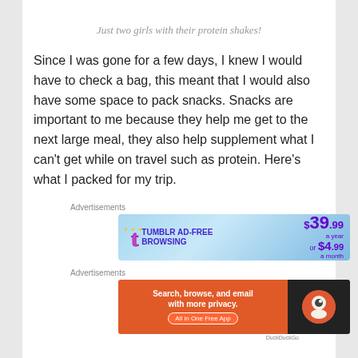Just two girls with their protein shakes!
Since I was gone for a few days, I knew I would have to check a bag, this meant that I would also have some space to pack snacks. Snacks are important to me because they help me get to the next large meal, they also help supplement what I can't get while on travel such as protein. Here's what I packed for my trip.
Advertisements
[Figure (screenshot): Tumblr Ad-Free Browsing advertisement banner showing $39.99 a year or $4.99 a month]
Advertisements
[Figure (screenshot): DuckDuckGo advertisement banner: Search, browse, and email with more privacy. All in One Free App]